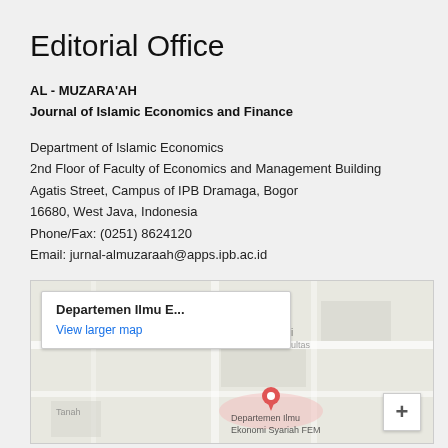Editorial Office
AL - MUZARA'AH
Journal of Islamic Economics and Finance
Department of Islamic Economics
2nd Floor of Faculty of Economics and Management Building
Agatis Street, Campus of IPB Dramaga, Bogor
16680, West Java, Indonesia
Phone/Fax: (0251) 8624120
Email: jurnal-almuzaraah@apps.ipb.ac.id
[Figure (map): Google Maps embed showing location of Departemen Ilmu Ekonomi Syariah FEM, IPB Dramaga campus, Bogor. Map popup shows 'Departemen Ilmu E...' with a 'View larger map' link. A zoom-in (+) button is visible at the bottom right.]